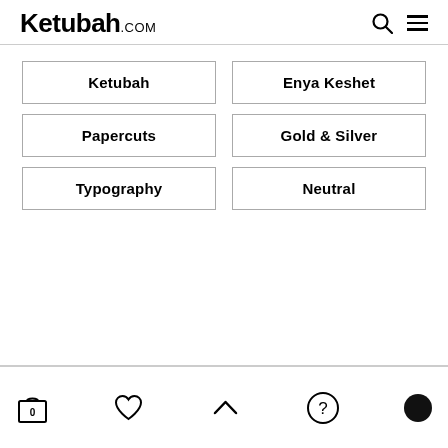Ketubah.com
Ketubah
Enya Keshet
Papercuts
Gold & Silver
Typography
Neutral
0 (bag), heart, up arrow, question, chat